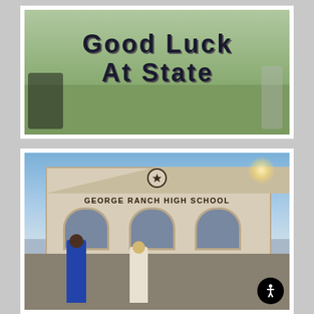[Figure (photo): Outdoor photo showing a crowd of students near large decorative letters spelling 'GOOD LUCK AT STATE' with sports-themed decorations including footballs and stars on a grassy area.]
[Figure (photo): Photo taken in front of George Ranch High School building entrance with arched doorways, a star emblem above, and two students standing in front — one wearing a Harlem Globetrotters-style jersey with a medal, and a girl in a white shirt. Sun flare visible in upper right. Accessibility icon button visible in lower right corner.]